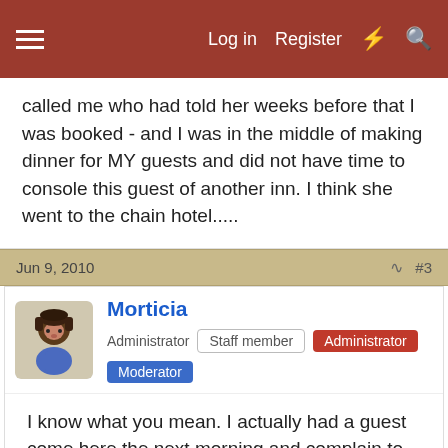Log in   Register
called me who had told her weeks before that I was booked - and I was in the middle of making dinner for MY guests and did not have time to console this guest of another inn. I think she went to the chain hotel.....
Jun 9, 2010   #3
Morticia  Administrator  Staff member  Administrator  Moderator
I know what you mean. I actually had a guest come here the next morning and complain to me that no one answered the phone where I sent them and that I should take them off my list! Well, sometimes we have to get out of the house!
But, I know if it happens more than a couple of times I will stop sending folks there. You do need to be onsite if you get a big walk-in crowd where you are. We know